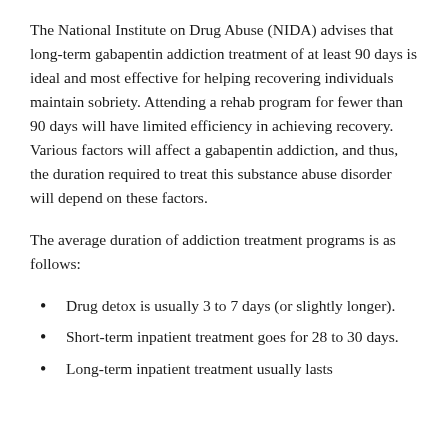The National Institute on Drug Abuse (NIDA) advises that long-term gabapentin addiction treatment of at least 90 days is ideal and most effective for helping recovering individuals maintain sobriety. Attending a rehab program for fewer than 90 days will have limited efficiency in achieving recovery. Various factors will affect a gabapentin addiction, and thus, the duration required to treat this substance abuse disorder will depend on these factors.
The average duration of addiction treatment programs is as follows:
Drug detox is usually 3 to 7 days (or slightly longer).
Short-term inpatient treatment goes for 28 to 30 days.
Long-term inpatient treatment usually lasts